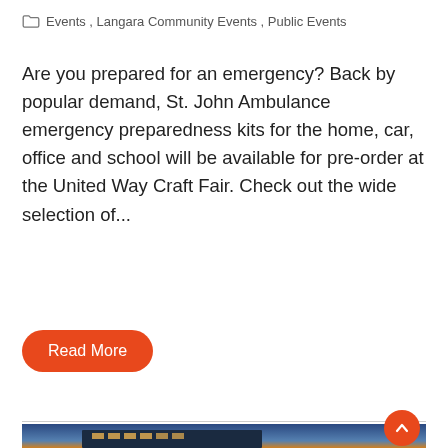Events, Langara Community Events, Public Events
Are you prepared for an emergency? Back by popular demand, St. John Ambulance emergency preparedness kits for the home, car, office and school will be available for pre-order at the United Way Craft Fair. Check out the wide selection of...
Read More
[Figure (photo): Exterior photo of a modern institutional building at dusk/twilight, with illuminated windows and a blue-toned sky with warm orange light near the horizon. Trees visible at the bottom right.]